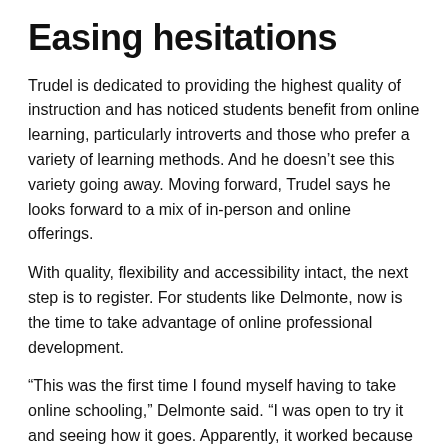Easing hesitations
Trudel is dedicated to providing the highest quality of instruction and has noticed students benefit from online learning, particularly introverts and those who prefer a variety of learning methods. And he doesn't see this variety going away. Moving forward, Trudel says he looks forward to a mix of in-person and online offerings.
With quality, flexibility and accessibility intact, the next step is to register. For students like Delmonte, now is the time to take advantage of online professional development.
“This was the first time I found myself having to take online schooling,” Delmonte said. “I was open to try it and seeing how it goes. Apparently, it worked because now I want to do it again!”